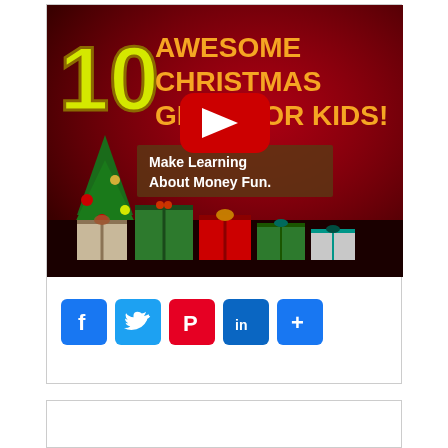[Figure (screenshot): YouTube video thumbnail showing '10 Awesome Christmas Gifts for Kids!' with a Christmas tree, wrapped presents, and text 'Make Learning About Money Fun.' overlaid. YouTube play button visible in center.]
[Figure (infographic): Social media share buttons: Facebook (blue), Twitter (blue), Pinterest (red), LinkedIn (blue), and a share/more button (blue)]